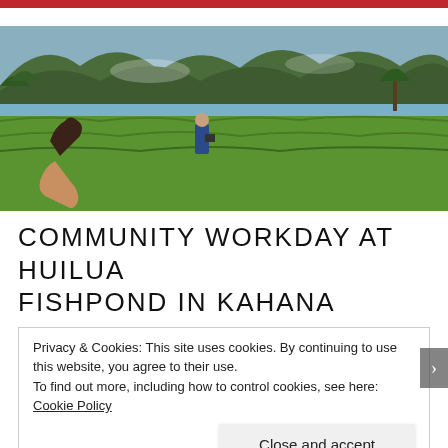[Figure (photo): Outdoor landscape photo showing a person standing in a green grassy wetland field with mountains, trees, and water in the background. A hand holds a dark leaf-shaped object in the foreground.]
COMMUNITY WORKDAY AT HUILUA FISHPOND IN KAHANA
Privacy & Cookies: This site uses cookies. By continuing to use this website, you agree to their use.
To find out more, including how to control cookies, see here: Cookie Policy
Close and accept
Advertisements